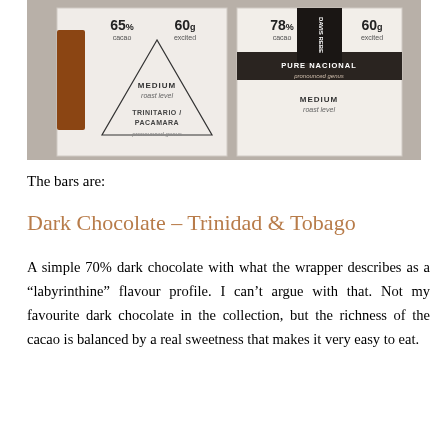[Figure (photo): Photograph of chocolate bar packaging boxes showing percentage labels (65%, 60%, 78%, 60%) with text including 'MEDIUM roast level', 'TRINITARIO / PACAMARA', 'PURE NACIONAL', arranged on a light surface]
The bars are:
Dark Chocolate – Trinidad & Tobago
A simple 70% dark chocolate with what the wrapper describes as a “labyrinthine” flavour profile. I can’t argue with that. Not my favourite dark chocolate in the collection, but the richness of the cacao is balanced by a real sweetness that makes it very easy to eat.